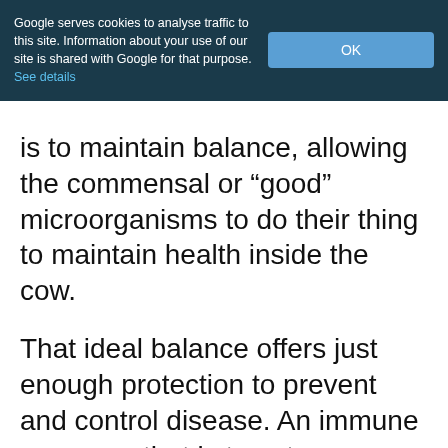Google serves cookies to analyse traffic to this site. Information about your use of our site is shared with Google for that purpose. See details
is to maintain balance, allowing the commensal or “good” microorganisms to do their thing to maintain health inside the cow.
That ideal balance offers just enough protection to prevent and control disease. An immune response that is too strong can result in excessive inflammation. One that is too weak lets the invading pathogens take over. An ideal immune system creates a state of homeostasis in the body where